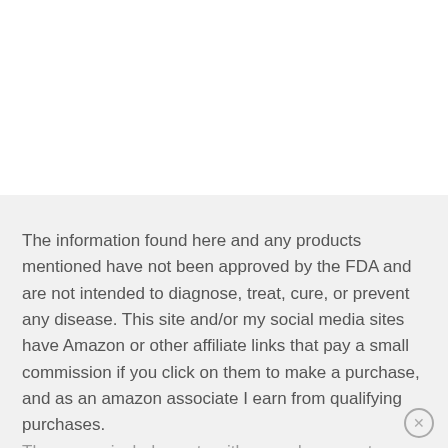The information found here and any products mentioned have not been approved by the FDA and are not intended to diagnose, treat, cure, or prevent any disease. This site and/or my social media sites have Amazon or other affiliate links that pay a small commission if you click on them to make a purchase, and as an amazon associate I earn from qualifying purchases. These may include posts with an endorsement, recommendation, testimonial and/or link to